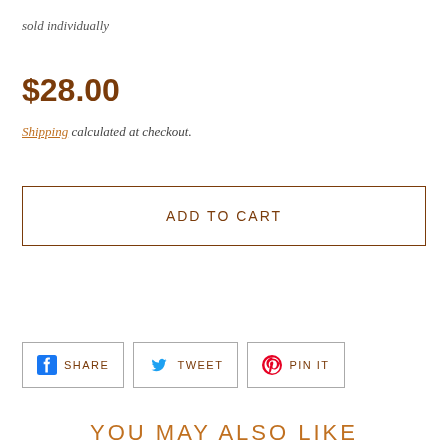sold individually
$28.00
Shipping calculated at checkout.
ADD TO CART
SHARE  TWEET  PIN IT
YOU MAY ALSO LIKE